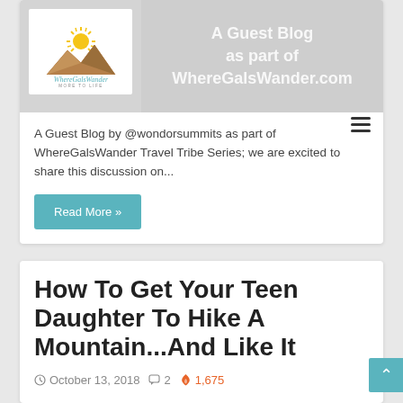[Figure (logo): WhereGalsWander logo with sun and mountain graphic, and cursive text 'WhereGalsWander MORE TO LIFE']
[Figure (other): Guest blog overlay text reading 'A Guest Blog as part of WhereGalsWander.com' with gray background]
A Guest Blog by @wondorsummits as part of WhereGalsWander Travel Tribe Series; we are excited to share this discussion on...
Read More »
How To Get Your Teen Daughter To Hike A Mountain...And Like It
October 13, 2018   2   1,675